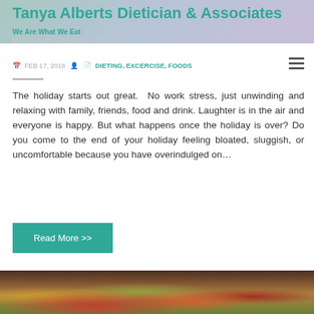[Figure (photo): Header background image with teal/lavender gradient tones suggesting a health/food website banner]
Tanya Alberts Dietician & Associates
We Are What We Eat
We Have All Been There...
FEB 17, 2018   DIETING, EXCERCISE, FOODS
The holiday starts out great.  No work stress, just unwinding and relaxing with family, friends, food and drink. Laughter is in the air and everyone is happy. But what happens once the holiday is over? Do you come to the end of your holiday feeling bloated, sluggish, or uncomfortable because you have overindulged on…
Read More >>
[Figure (photo): Bottom banner image showing various fruits and vegetables on a dark wooden surface]